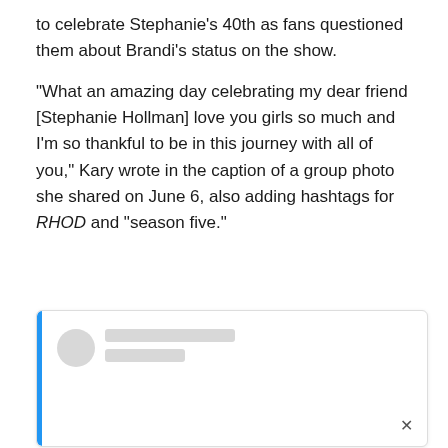to celebrate Stephanie's 40th as fans questioned them about Brandi's status on the show.
“What an amazing day celebrating my dear friend [Stephanie Hollman] love you girls so much and I’m so thankful to be in this journey with all of you,” Kary wrote in the caption of a group photo she shared on June 6, also adding hashtags for RHOD and “season five.”
[Figure (screenshot): A blurred/redacted social media post with a blue left border, showing a circular avatar placeholder and two grey bars representing a username, with a close (x) button in the bottom right.]